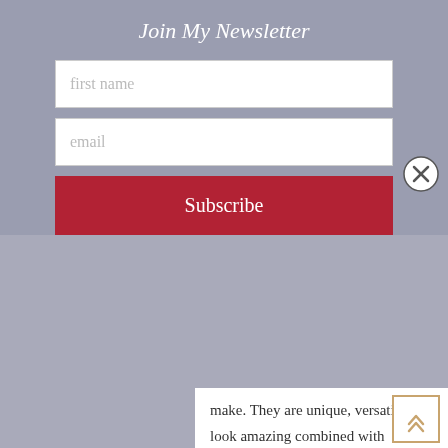Join My Newsletter
first name
email
Subscribe
make. They are unique, versatile and look amazing combined with polymer clay components. I often go through stages of incorporating...
READ MORE
Debbie Crothers
No Comments
[Figure (photo): Bottom strip showing a wooden surface with yellow sticky note and some objects]